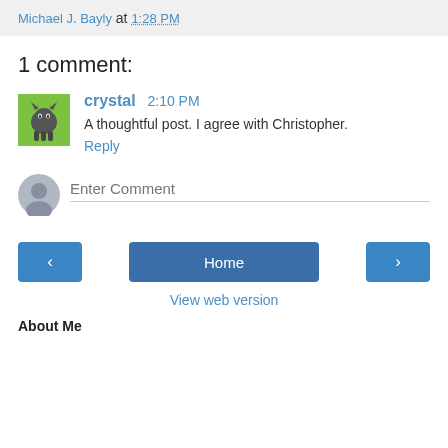Michael J. Bayly at 1:28 PM
1 comment:
crystal 2:10 PM
A thoughtful post. I agree with Christopher.
Reply
Enter Comment
< Home > View web version
About Me